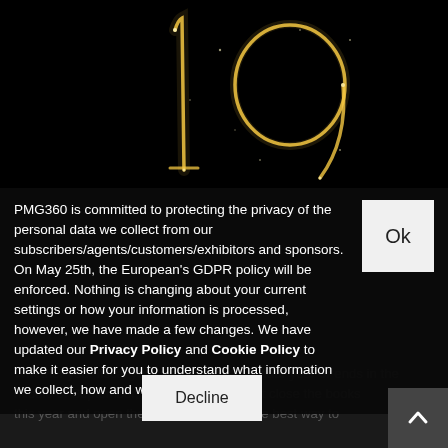[Figure (photo): Sparkler writing '19' against a black background]
PMG360 is committed to protecting the privacy of the personal data we collect from our subscribers/agents/customers/exhibitors and sponsors. On May 25th, the European's GDPR policy will be enforced. Nothing is changing about your current settings or how your information is processed, however, we have made a few changes. We have updated our Privacy Policy and Cookie Policy to make it easier for you to understand what information we collect, how and why we collect it.
Whether your fiscal year matches the calendar year or ends in the middle of September, at some point you must close the books on this year and open them on next year. What's the best way to